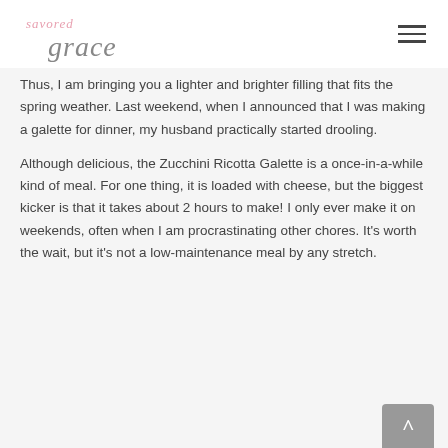savored grace
Thus, I am bringing you a lighter and brighter filling that fits the spring weather. Last weekend, when I announced that I was making a galette for dinner, my husband practically started drooling.
Although delicious, the Zucchini Ricotta Galette is a once-in-a-while kind of meal. For one thing, it is loaded with cheese, but the biggest kicker is that it takes about 2 hours to make! I only ever make it on weekends, often when I am procrastinating other chores. It's worth the wait, but it's not a low-maintenance meal by any stretch.